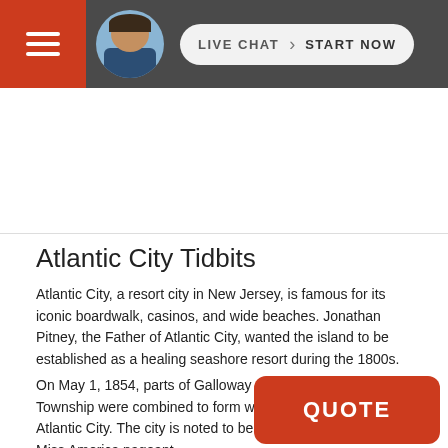LIVE CHAT  START NOW
Atlantic City Tidbits
Atlantic City, a resort city in New Jersey, is famous for its iconic boardwalk, casinos, and wide beaches. Jonathan Pitney, the Father of Atlantic City, wanted the island to be established as a healing seashore resort during the 1800s.
On May 1, 1854, parts of Galloway and Egg Harbor Township were combined to form what we now know as Atlantic City. The city is noted to be the birthplace of the Miss America pageant and it is the inspiration for the board game, Monopoly. Today, everywhere you look, it is dotted with shopping centers, fine dining restaurants, and high-rise hotels.
The population of the city according to the estimate is around 38,429 residents. It is New Jersey as reported by the US Census Bu